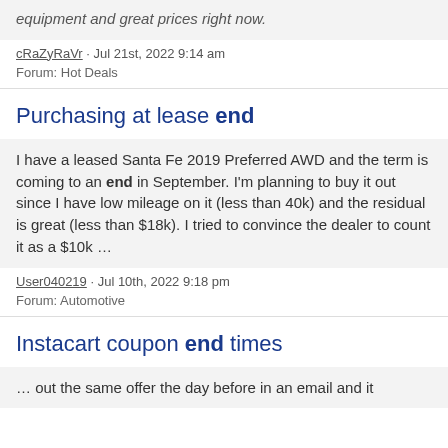equipment and great prices right now.
cRaZyRaVr · Jul 21st, 2022 9:14 am
Forum: Hot Deals
Purchasing at lease end
I have a leased Santa Fe 2019 Preferred AWD and the term is coming to an end in September. I'm planning to buy it out since I have low mileage on it (less than 40k) and the residual is great (less than $18k). I tried to convince the dealer to count it as a $10k ...
User040219 · Jul 10th, 2022 9:18 pm
Forum: Automotive
Instacart coupon end times
... out the same offer the day before in an email and it